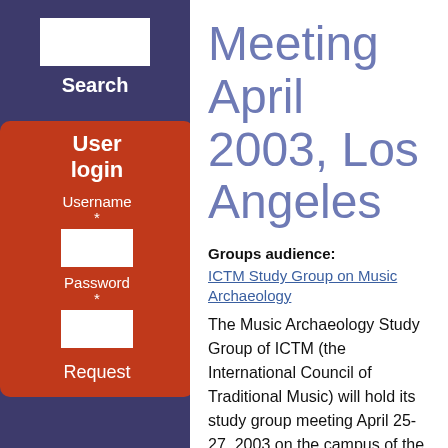[Figure (screenshot): White search input box in sidebar]
Search
User login
Username *
[Figure (screenshot): White username input box]
Password *
[Figure (screenshot): White password input box]
Request
Meeting April 2003, Los Angeles
Groups audience:
ICTM Study Group on Music Archaeology
The Music Archaeology Study Group of ICTM (the International Council of Traditional Music) will hold its study group meeting April 25-27, 2003 on the campus of the University of